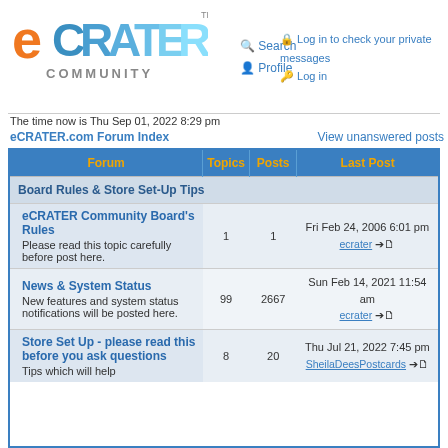[Figure (logo): eCRATER Community logo with orange 'e', blue/gray CRATER text, and COMMUNITY text below]
Search
Profile
Log in to check your private messages
Log in
The time now is Thu Sep 01, 2022 8:29 pm
eCRATER.com Forum Index
View unanswered posts
| Forum | Topics | Posts | Last Post |
| --- | --- | --- | --- |
| Board Rules & Store Set-Up Tips |  |  |  |
| eCRATER Community Board's Rules
Please read this topic carefully before post here. | 1 | 1 | Fri Feb 24, 2006 6:01 pm
ecrater → |
| News & System Status
New features and system status notifications will be posted here. | 99 | 2667 | Sun Feb 14, 2021 11:54 am
ecrater → |
| Store Set Up - please read this before you ask questions
Tips which will help | 8 | 20 | Thu Jul 21, 2022 7:45 pm
SheilaDeesPostcards → |